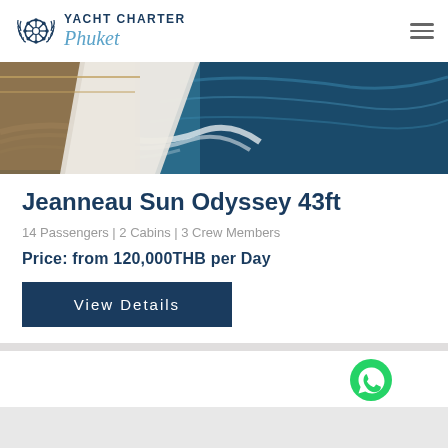[Figure (logo): Yacht Charter Phuket logo with ship wheel emblem, 'YACHT CHARTER' text in bold navy and 'Phuket' in blue italic script]
[Figure (photo): Aerial/close-up view of a sailing yacht deck and bow cutting through blue ocean water with white wake]
Jeanneau Sun Odyssey 43ft
14 Passengers | 2 Cabins | 3 Crew Members
Price: from 120,000THB per Day
View Details
[Figure (logo): WhatsApp green circular button icon]